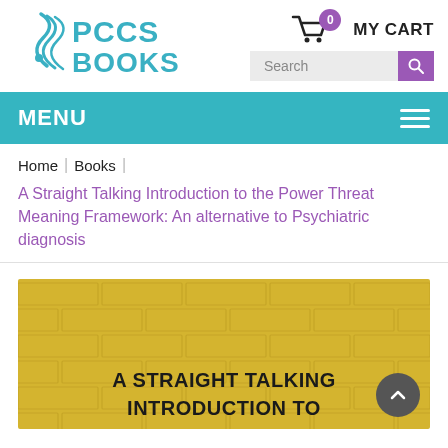[Figure (logo): PCCS Books logo with teal swoosh/wave graphic and teal text 'PCCS BOOKS']
MY CART 0
Search
MENU
Home | Books |
A Straight Talking Introduction to the Power Threat Meaning Framework: An alternative to Psychiatric diagnosis
[Figure (photo): Book cover with yellow brick wall background and bold text 'A STRAIGHT TALKING INTRODUCTION TO...' in black lettering]